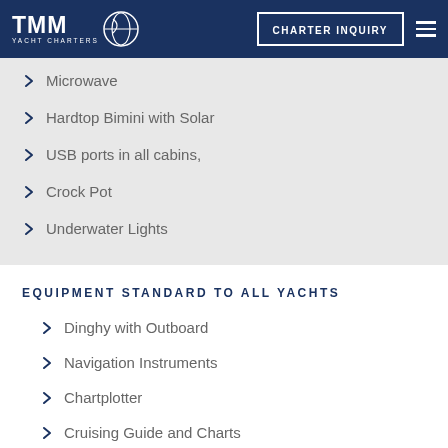TMM YACHT CHARTERS — CHARTER INQUIRY
Microwave
Hardtop Bimini with Solar
USB ports in all cabins,
Crock Pot
Underwater Lights
EQUIPMENT STANDARD TO ALL YACHTS
Dinghy with Outboard
Navigation Instruments
Chartplotter
Cruising Guide and Charts